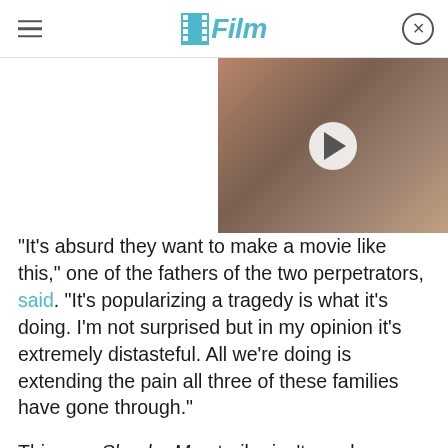/Film
[Figure (photo): Video thumbnail showing a young woman with red hair, with a play button overlay. Right side of header area.]
"It's absurd they want to make a movie like this," one of the fathers of the two perpetrators, said. "It's popularizing a tragedy is what it's doing. I'm not surprised but in my opinion it's extremely distasteful. All we're doing is extending the pain all three of these families have gone through."
This new Slender Man trailer isn't nearly as effective as the first one, which looked a lot better than I expected it to. That said, I will admit there's a level of artistry on display here – at least in term of the